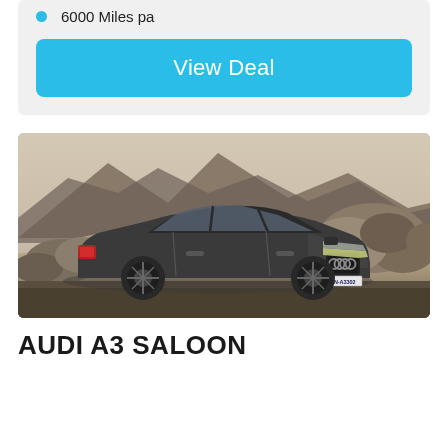6000 Miles pa
View Deal
[Figure (photo): Audi A3 Saloon car in dark grey parked in a rocky desert landscape with mountains in background. License plate reads IN-A3302.]
AUDI A3 SALOON